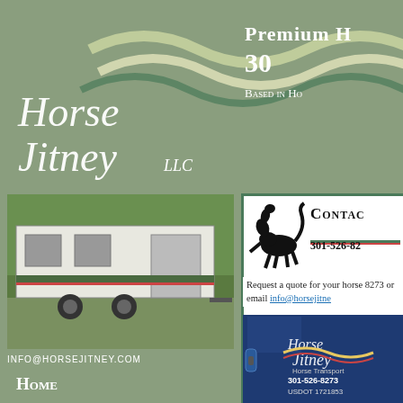[Figure (logo): Horse Jitney LLC logo with wave decoration on green background]
Premium H... 30... Based in H...
[Figure (photo): White horse trailer parked on grass]
info@horsejitney.com
Home
Show Shuttle
Urgent Hauls
Local & long distance Hauling
Trailer Training
[Figure (illustration): Black horse silhouette running]
Contac...
301-526-82...
Request a quote for your horse... 8273 or email info@horsejitne...
[Figure (photo): Blue truck door with Horse Jitney logo, 301-526-8273, USDOT 1721853]